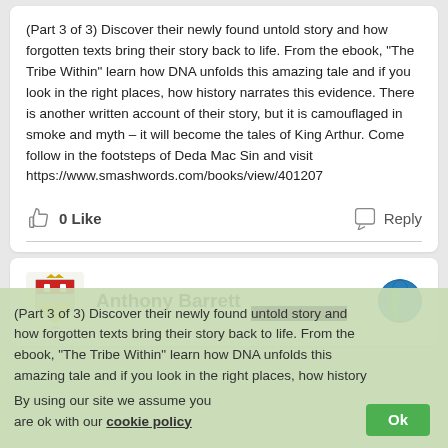(Part 3 of 3) Discover their newly found untold story and how forgotten texts bring their story back to life. From the ebook, “The Tribe Within” learn how DNA unfolds this amazing tale and if you look in the right places, how history narrates this evidence. There is another written account of their story, but it is camouflaged in smoke and myth – it will become the tales of King Arthur. Come follow in the footsteps of Deda Mac Sin and visit https://www.smashwords.com/books/view/401207
0 Like
Reply
Anthony Barrett
(Part 3 of 3) Discover their newly found untold story and how forgotten texts bring their story back to life. From the ebook, “The Tribe Within” learn how DNA unfolds this amazing tale and if you look in the right places, how history
By using our site we assume you are ok with our cookie policy
Ok